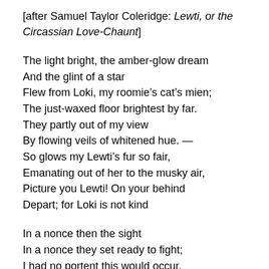[after Samuel Taylor Coleridge: Lewti, or the Circassian Love-Chaunt]
The light bright, the amber-glow dream
And the glint of a star
Flew from Loki, my roomie’s cat’s mien;
The just-waxed floor brightest by far.
They partly out of my view
By flowing veils of whitened hue. —
So glows my Lewti’s fur so fair,
Emanating out of her to the musky air,
Picture you Lewti! On your behind
Depart; for Loki is not kind
In a nonce then the sight
In a nonce they set ready to fight;
I had no portent this would occur,